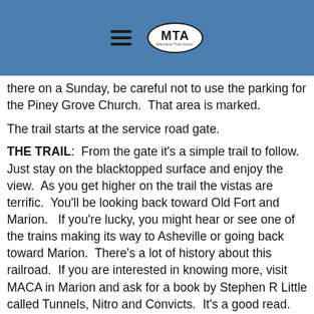MTA (Maryland Trail Association logo with hamburger menu icon)
...the Forest Service Gate marks the start of the trail. If you're there on a Sunday, be careful not to use the parking for the Piney Grove Church.  That area is marked.
The trail starts at the service road gate.
THE TRAIL:  From the gate it's a simple trail to follow.  Just stay on the blacktopped surface and enjoy the view.  As you get higher on the trail the vistas are terrific.  You'll be looking back toward Old Fort and Marion.   If you're lucky, you might hear or see one of the trains making its way to Asheville or going back toward Marion.  There's a lot of history about this railroad.  If you are interested in knowing more, visit MACA in Marion and ask for a book by Stephen R Little called Tunnels, Nitro and Convicts.  It's a good read.